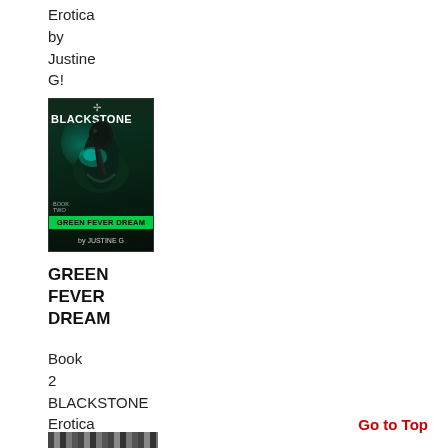Erotica
by
Justine
G!
[Figure (illustration): Book cover for BLACKSTONE Green Fever Dream Book Two by Justine G, featuring a dark sci-fi/fantasy figure with teal glowing highlights on a dark background, with the subtitle 'GREEN FEVER DREAM' in green band at bottom]
GREEN FEVER DREAM
Book
2
BLACKSTONE
Erotica
by
Justine
G!
Go to Top
[Figure (other): Partial view of a SUMMARIES bar or banner at the bottom of the page]